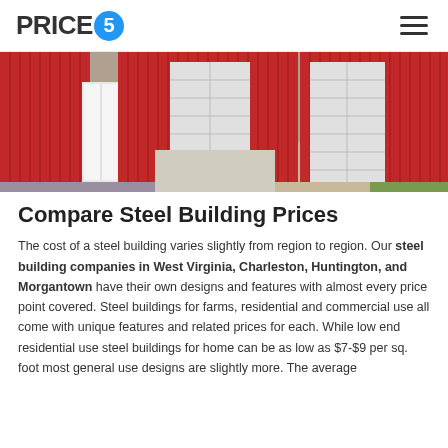PRICE5
[Figure (photo): Aerial/angled view of a red metal steel building with white garage doors and concrete pad, surrounded by gravel and grass]
Compare Steel Building Prices
The cost of a steel building varies slightly from region to region. Our steel building companies in West Virginia, Charleston, Huntington, and Morgantown have their own designs and features with almost every price point covered. Steel buildings for farms, residential and commercial use all come with unique features and related prices for each. While low end residential use steel buildings for home can be as low as $7-$9 per sq. foot most general use designs are slightly more. The average